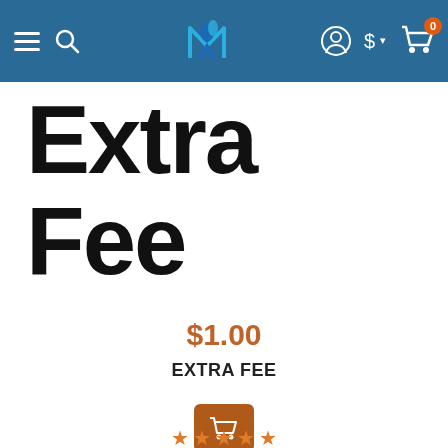MAXCATCH navigation bar with logo, search, account, currency, and cart icons
Extra Fee
$1.00
EXTRA FEE
[Figure (other): Orange add-to-cart button with shopping cart icon]
[Figure (other): Star rating row showing approximately 4 orange stars]